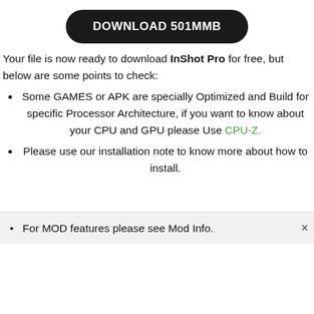DOWNLOAD 501MMB
Your file is now ready to download InShot Pro for free, but below are some points to check:
Some GAMES or APK are specially Optimized and Build for specific Processor Architecture, if you want to know about your CPU and GPU please Use CPU-Z.
Please use our installation note to know more about how to install.
For MOD features please see Mod Info.